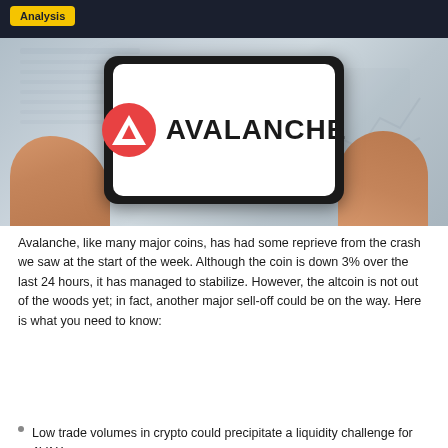Analysis
[Figure (photo): Person holding a smartphone displaying the Avalanche (AVAX) logo and wordmark on a white screen, with financial charts/documents visible in the background on a desk.]
Avalanche, like many major coins, has had some reprieve from the crash we saw at the start of the week. Although the coin is down 3% over the last 24 hours, it has managed to stabilize. However, the altcoin is not out of the woods yet; in fact, another major sell-off could be on the way. Here is what you need to know:
Low trade volumes in crypto could precipitate a liquidity challenge for AVAX.